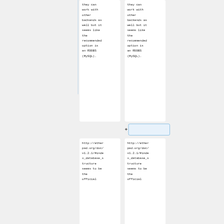they can work with other backends as well but it seems like the recommended option is an RDDBS (MySQL).
they can work with other backends as well but it seems like the recommended option is an RDDBS (MySQL).
http://etherpad.org/doc/v1.2.1/#index_database_structure seems to be the official
http://etherpad.org/doc/v1.2.1/#index_database_structure seems to be the official